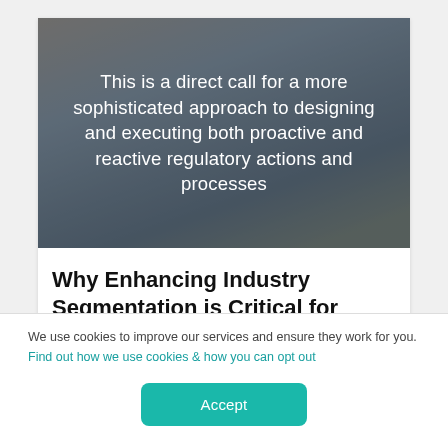[Figure (photo): Photo of people seated around a conference table in a meeting room with large windows, overlaid with white italic text on a semi-transparent dark background.]
This is a direct call for a more sophisticated approach to designing and executing both proactive and reactive regulatory actions and processes
Why Enhancing Industry Segmentation is Critical for Better...
We use cookies to improve our services and ensure they work for you. Find out how we use cookies & how you can opt out